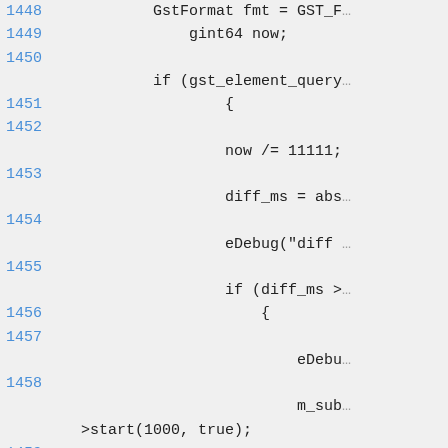Source code listing, lines 1448-1459, showing C/GStreamer code snippet with line numbers in blue and code in monospace.